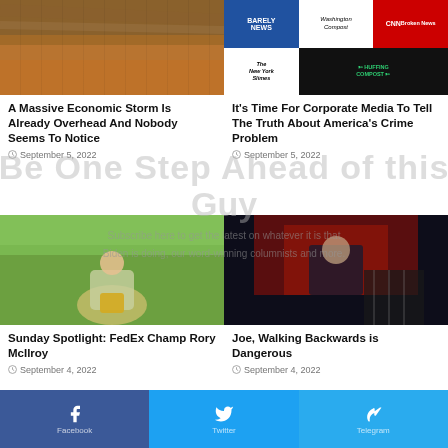[Figure (photo): Desert landscape with dust storm and orange/brown sky]
[Figure (photo): Collage of media logos: Barely News, Washington Compost, CNN Broken News, The New York Slimes, Huffing Compost]
A Massive Economic Storm Is Already Overhead And Nobody Seems To Notice
September 5, 2022
It's Time For Corporate Media To Tell The Truth About America's Crime Problem
September 5, 2022
[Figure (photo): Golfer Rory McIlroy crouching with trophy on green golf course]
[Figure (photo): Joe Biden at podium with dark dramatic red-lit background]
Sunday Spotlight: FedEx Champ Rory McIlroy
September 4, 2022
Joe, Walking Backwards is Dangerous
September 4, 2022
Facebook  Twitter  Telegram